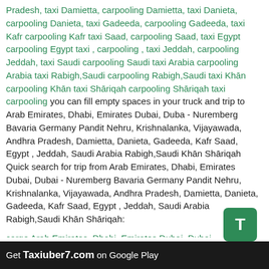Pradesh, taxi Damietta, carpooling Damietta, taxi Danieta, carpooling Danieta, taxi Gadeeda, carpooling Gadeeda, taxi Kafr carpooling Kafr taxi Saad, carpooling Saad, taxi Egypt carpooling Egypt taxi , carpooling , taxi Jeddah, carpooling Jeddah, taxi Saudi carpooling Saudi taxi Arabia carpooling Arabia taxi Rabigh,Saudi carpooling Rabigh,Saudi taxi Khān carpooling Khān taxi Shāriqah carpooling Shāriqah taxi carpooling you can fill empty spaces in your truck and trip to Arab Emirates, Dhabi, Emirates Dubai, Dubai - Nuremberg Bavaria Germany Pandit Nehru, Krishnalanka, Vijayawada, Andhra Pradesh, Damietta, Danieta, Gadeeda, Kafr Saad, Egypt , Jeddah, Saudi Arabia Rabigh,Saudi Khān Shāriqah Quick search for trip from Arab Emirates, Dhabi, Emirates Dubai, Dubai - Nuremberg Bavaria Germany Pandit Nehru, Krishnalanka, Vijayawada, Andhra Pradesh, Damietta, Danieta, Gadeeda, Kafr Saad, Egypt , Jeddah, Saudi Arabia Rabigh,Saudi Khān Shāriqah:
cargo Arab Emirates, Dhabi, Emirates Dubai, Dubai - Nuremberg Bavaria Germany Pandit Nehru, Krishnalanka, Vijayawada, Andhra Pradesh, Damietta, Danieta, Gadeeda, Kafr Saad, Egypt , Jeddah, Saudi Arabia Rabigh,Saudi Khān Shāriqah, travel Arab Emirates, Dhabi, Emirates Dubai, Dubai - Nuremberg Bavaria Germany Pandit Nehru, Krishnalanka, Vijayawada, Andhra Pradesh, Damietta, Danieta, Gadeeda, Kafr Saad, Egypt , Jeddah, Saudi Arabia Khān Shāriqah, storage Arab Emirates, Dhabi, Emirates Dubai, Dubai - Nuremberg Bavaria Germany
Get Taxiuber7.com on Google Play